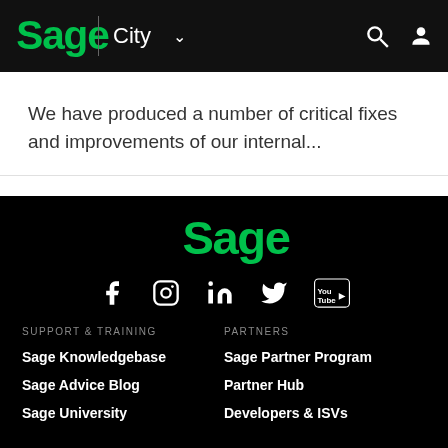Sage | City
We have produced a number of critical fixes and improvements of our internal...
[Figure (logo): Sage logo in green on black footer background]
[Figure (infographic): Social media icons row: Facebook, Instagram, LinkedIn, Twitter, YouTube]
SUPPORT & TRAINING
Sage Knowledgebase
Sage Advice Blog
Sage University
PARTNERS
Sage Partner Program
Partner Hub
Developers & ISVs